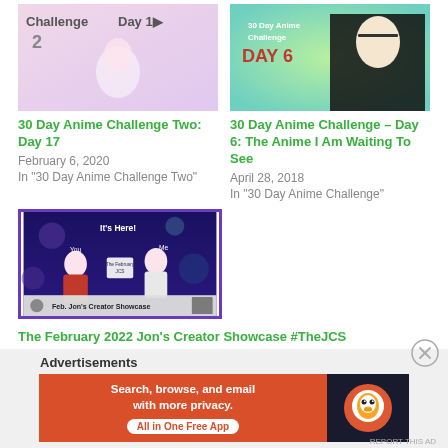[Figure (illustration): Thumbnail image for '30 Day Anime Challenge Two: Day 17' post - anime style artwork with text 'Challenge Day 1' and '2']
30 Day Anime Challenge Two: Day 17
February 6, 2020
In "30 Day Anime Challenge Two"
[Figure (illustration): Thumbnail image for '30 Day Anime Challenge - Day 6: The Anime I Am Waiting To See' - anime character with glasses, green background, text '30 Day Anime Challenge Day 6']
30 Day Anime Challenge – Day 6: The Anime I Am Waiting To See
April 28, 2018
In "30 Day Anime Challenge"
[Figure (illustration): Thumbnail image for 'The February 2022 Jon's Creator Showcase #TheJCS' - anime characters with text 'It's Here!', 'You', 'Me', 'The February JCS', 'Feb. Jon's Creator Showcase']
The February 2022 Jon's Creator Showcase #TheJCS
March 6, 2022
In "Blog Updates"
Advertisements
[Figure (screenshot): DuckDuckGo advertisement banner: orange section with text 'Search, browse, and email with more privacy. All in One Free App', dark section with DuckDuckGo logo]